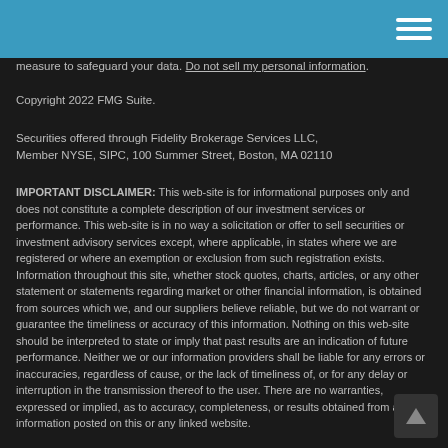measure to safeguard your data. Do not sell my personal information.
Copyright 2022 FMG Suite.
Securities offered through Fidelity Brokerage Services LLC, Member NYSE, SIPC, 100 Summer Street, Boston, MA 02110
IMPORTANT DISCLAIMER: This web-site is for informational purposes only and does not constitute a complete description of our investment services or performance. This web-site is in no way a solicitation or offer to sell securities or investment advisory services except, where applicable, in states where we are registered or where an exemption or exclusion from such registration exists. Information throughout this site, whether stock quotes, charts, articles, or any other statement or statements regarding market or other financial information, is obtained from sources which we, and our suppliers believe reliable, but we do not warrant or guarantee the timeliness or accuracy of this information. Nothing on this web-site should be interpreted to state or imply that past results are an indication of future performance. Neither we or our information providers shall be liable for any errors or inaccuracies, regardless of cause, or the lack of timeliness of, or for any delay or interruption in the transmission thereof to the user. There are no warranties, expressed or implied, as to accuracy, completeness, or results obtained from any information posted on this or any linked website.